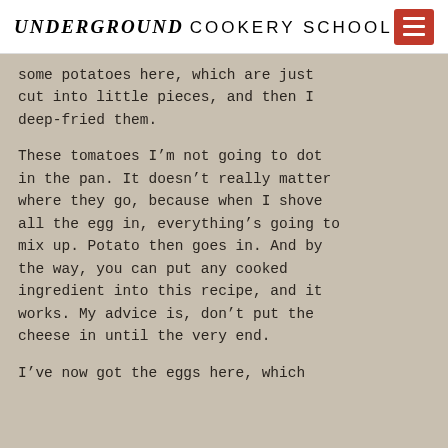UNDERGROUND COOKERY SCHOOL
some potatoes here, which are just cut into little pieces, and then I deep-fried them.
These tomatoes I'm not going to dot in the pan. It doesn't really matter where they go, because when I shove all the egg in, everything's going to mix up. Potato then goes in. And by the way, you can put any cooked ingredient into this recipe, and it works. My advice is, don't put the cheese in until the very end.
I've now got the eggs here, which